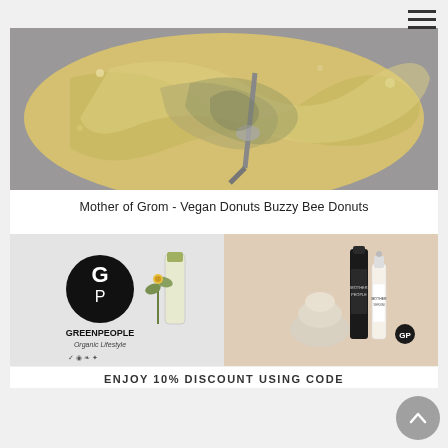[Figure (photo): Top-down view of creamy batter or dough being mixed in a stainless steel bowl with a mixer attachment]
Mother of Grom - Vegan Donuts Buzzy Bee Donuts
[Figure (photo): Green People Organic Lifestyle product advertisement showing skincare products on a split background]
ENJOY 10% DISCOUNT USING CODE